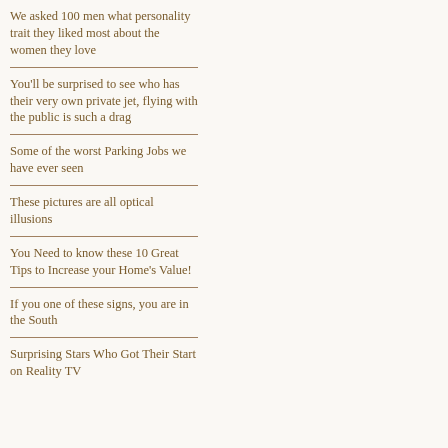We asked 100 men what personality trait they liked most about the women they love
You'll be surprised to see who has their very own private jet, flying with the public is such a drag
Some of the worst Parking Jobs we have ever seen
These pictures are all optical illusions
You Need to know these 10 Great Tips to Increase your Home's Value!
If you one of these signs, you are in the South
Surprising Stars Who Got Their Start on Reality TV